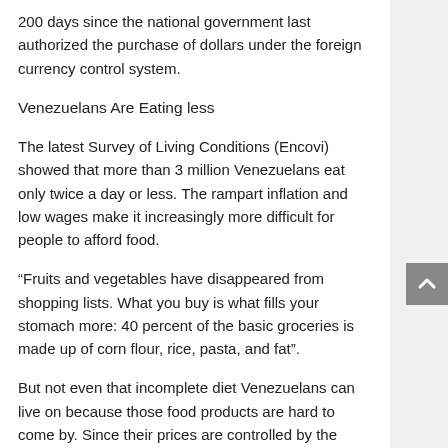200 days since the national government last authorized the purchase of dollars under the foreign currency control system.
Venezuelans Are Eating less
The latest Survey of Living Conditions (Encovi) showed that more than 3 million Venezuelans eat only twice a day or less. The rampart inflation and low wages make it increasingly more difficult for people to afford food.
“Fruits and vegetables have disappeared from shopping lists. What you buy is what fills your stomach more: 40 percent of the basic groceries is made up of corn flour, rice, pasta, and fat”.
But not even that incomplete diet Venezuelans can live on because those food products are hard to come by. Since their prices are controlled by the government,